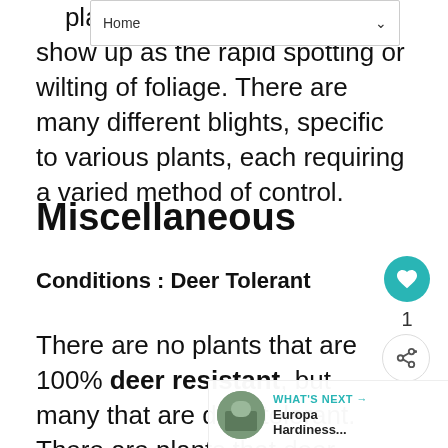Home
Bli... plant tissue. Symptoms often show up as the rapid spotting or wilting of foliage. There are many different blights, specific to various plants, each requiring a varied method of control.
Miscellaneous
Conditions : Deer Tolerant
There are no plants that are 100% deer resistant, but many that are deer tolerant. There are plants that deer prefer over... You will find that what deer will or will not eat varies in different parts of the country. A lot of it...
[Figure (screenshot): What's Next panel with thumbnail of Europa Hardiness article]